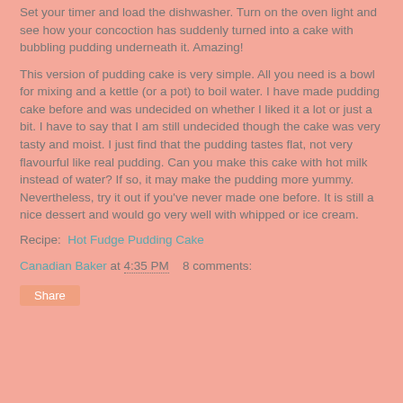Set your timer and load the dishwasher. Turn on the oven light and see how your concoction has suddenly turned into a cake with bubbling pudding underneath it. Amazing!
This version of pudding cake is very simple. All you need is a bowl for mixing and a kettle (or a pot) to boil water. I have made pudding cake before and was undecided on whether I liked it a lot or just a bit. I have to say that I am still undecided though the cake was very tasty and moist. I just find that the pudding tastes flat, not very flavourful like real pudding. Can you make this cake with hot milk instead of water? If so, it may make the pudding more yummy. Nevertheless, try it out if you've never made one before. It is still a nice dessert and would go very well with whipped or ice cream.
Recipe: Hot Fudge Pudding Cake
Canadian Baker at 4:35 PM    8 comments:
Share